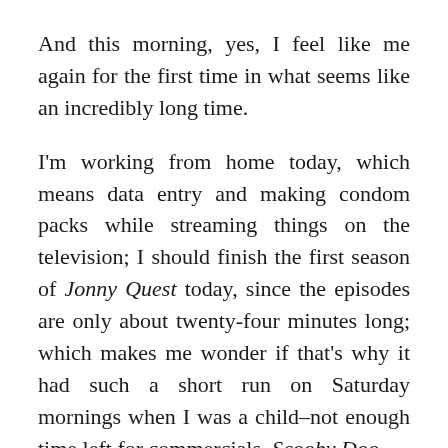And this morning, yes, I feel like me again for the first time in what seems like an incredibly long time.
I'm working from home today, which means data entry and making condom packs while streaming things on the television; I should finish the first season of Jonny Quest today, since the episodes are only about twenty-four minutes long; which makes me wonder if that's why it had such a short run on Saturday mornings when I was a child–not enough time left for commercials. Scooby Doo Where Are You? aired at 21-22 minutes...